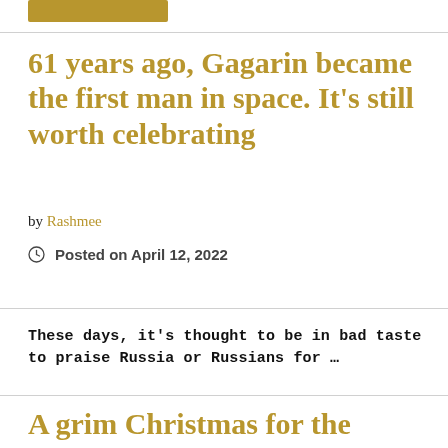[Figure (other): Gold/amber colored rectangular button or tag at top]
61 years ago, Gagarin became the first man in space. It's still worth celebrating
by Rashmee
Posted on April 12, 2022
These days, it's thought to be in bad taste to praise Russia or Russians for …
Read More >
A grim Christmas for the Soviet